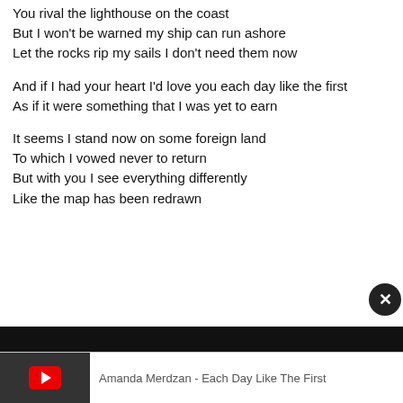You rival the lighthouse on the coast
But I won't be warned my ship can run ashore
Let the rocks rip my sails I don't need them now
And if I had your heart I'd love you each day like the first
As if it were something that I was yet to earn
It seems I stand now on some foreign land
To which I vowed never to return
But with you I see everything differently
Like the map has been redrawn
[Figure (screenshot): YouTube embedded video player bar showing thumbnail for 'Amanda Merdzan - Each Day Like The First' with a close (X) button overlaid on the dark video area above.]